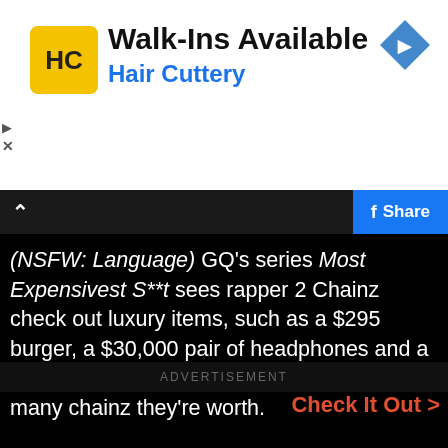[Figure (logo): Hair Cuttery advertisement banner with HC logo in yellow square, Walk-Ins Available heading, Hair Cuttery subtitle, and navigation arrow icon]
(NSFW: Language) GQ's series Most Expensivest S**t sees rapper 2 Chainz check out luxury items, such as a $295 burger, a $30,000 pair of headphones and a $2 million rust bucket, and evaluates how many chainz they're worth.
Check It Out >
ADVERTISEMENT